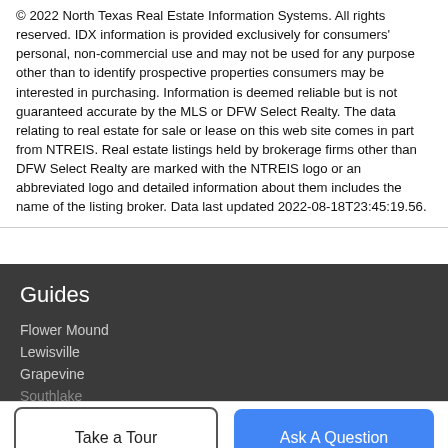© 2022 North Texas Real Estate Information Systems. All rights reserved. IDX information is provided exclusively for consumers' personal, non-commercial use and may not be used for any purpose other than to identify prospective properties consumers may be interested in purchasing. Information is deemed reliable but is not guaranteed accurate by the MLS or DFW Select Realty. The data relating to real estate for sale or lease on this web site comes in part from NTREIS. Real estate listings held by brokerage firms other than DFW Select Realty are marked with the NTREIS logo or an abbreviated logo and detailed information about them includes the name of the listing broker. Data last updated 2022-08-18T23:45:19.56.
Guides
Flower Mound
Lewisville
Grapevine
Southlake
Take a Tour
Ask A Question